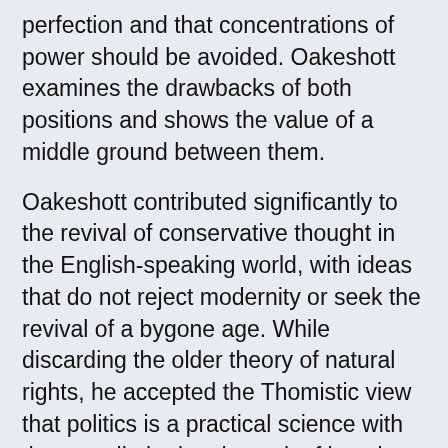perfection and that concentrations of power should be avoided. Oakeshott examines the drawbacks of both positions and shows the value of a middle ground between them.
Oakeshott contributed significantly to the revival of conservative thought in the English-speaking world, with ideas that do not reject modernity or seek the revival of a bygone age. While discarding the older theory of natural rights, he accepted the Thomistic view that politics is a practical science with the state limited to the task of keeping the peace and freeing the citizens to make what they will of their lives.
Coats, Wendel John, Jr. The Activity of Politics and Related Essays. Selinsgrove, Pa: Susquehanna